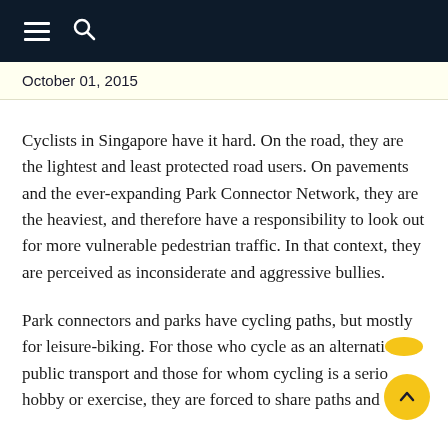≡ 🔍
October 01, 2015
Cyclists in Singapore have it hard. On the road, they are the lightest and least protected road users. On pavements and the ever-expanding Park Connector Network, they are the heaviest, and therefore have a responsibility to look out for more vulnerable pedestrian traffic. In that context, they are perceived as inconsiderate and aggressive bullies.
Park connectors and parks have cycling paths, but mostly for leisure-biking. For those who cycle as an alternative to public transport and those for whom cycling is a serious hobby or exercise, they are forced to share paths and